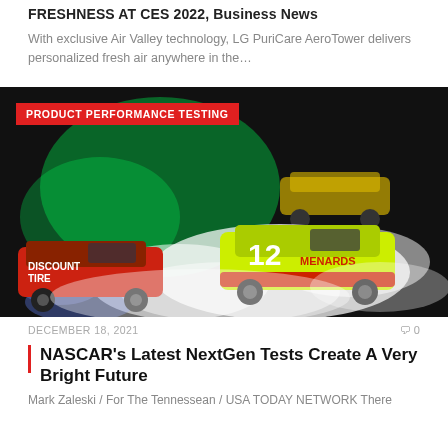FRESHNESS AT CES 2022, Business News
With exclusive Air Valley technology, LG PuriCare AeroTower delivers personalized fresh air anywhere in the…
[Figure (photo): NASCAR race cars doing burnouts on track with green lights and heavy tire smoke. A yellow/green #12 Menards car and a Discount Tire car are visible. A red badge reads PRODUCT PERFORMANCE TESTING.]
DECEMBER 18, 2021
0
NASCAR's Latest NextGen Tests Create A Very Bright Future
Mark Zaleski / For The Tennessean / USA TODAY NETWORK There